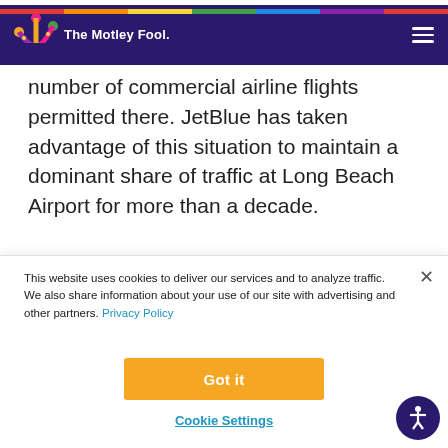The Motley Fool
number of commercial airline flights permitted there. JetBlue has taken advantage of this situation to maintain a dominant share of traffic at Long Beach Airport for more than a decade.
This website uses cookies to deliver our services and to analyze traffic. We also share information about your use of our site with advertising and other partners. Privacy Policy
Got it
Cookie Settings